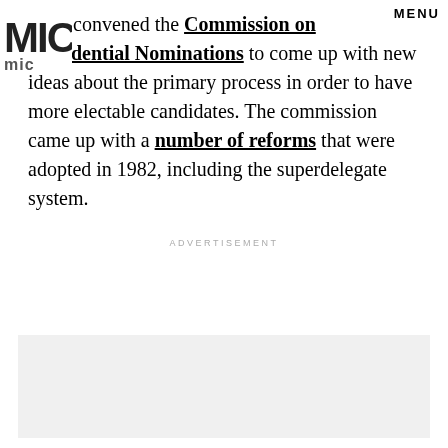MENU
1980 convened the Commission on Presidential Nominations to come up with new ideas about the primary process in order to have more electable candidates. The commission came up with a number of reforms that were adopted in 1982, including the superdelegate system.
ADVERTISEMENT